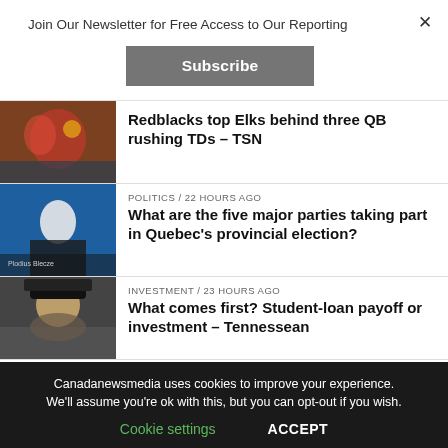Join Our Newsletter for Free Access to Our Reporting
Subscribe
[Figure (photo): Football players in action during a CFL game]
Redblacks top Elks behind three QB rushing TDs – TSN
POLITICS / 22 hours ago
[Figure (photo): Politician speaking at a podium]
What are the five major parties taking part in Quebec's provincial election?
INVESTMENT / 23 hours ago
[Figure (photo): Graduate student in cap looking upward]
What comes first? Student-loan payoff or investment – Tennessean
Canadanewsmedia uses cookies to improve your experience. We'll assume you're ok with this, but you can opt-out if you wish.
Cookie settings
ACCEPT